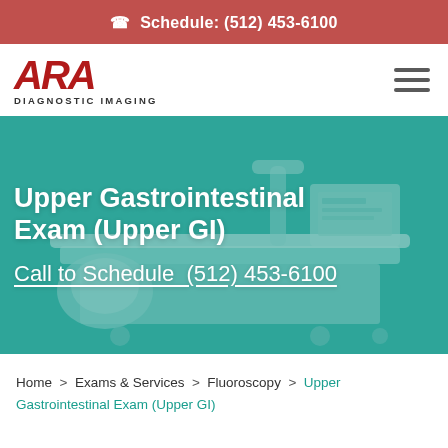Schedule: (512) 453-6100
[Figure (logo): ARA Diagnostic Imaging logo — red italic ARA letters with DIAGNOSTIC IMAGING below]
[Figure (photo): Medical imaging/fluoroscopy equipment in a clinical setting with teal overlay, showing exam table and imaging hardware]
Upper Gastrointestinal Exam (Upper GI)
Call to Schedule  (512) 453-6100
Home > Exams & Services > Fluoroscopy > Upper Gastrointestinal Exam (Upper GI)